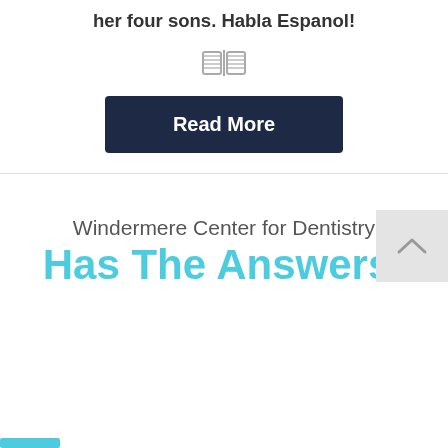her husband enjoy spending time with their four sons. Habla Espanol!
[Figure (illustration): Small gray open book icon]
Read More
Windermere Center for Dentistry
Has The Answers!
[Figure (other): Scroll-to-top button with upward caret arrow, light gray background]